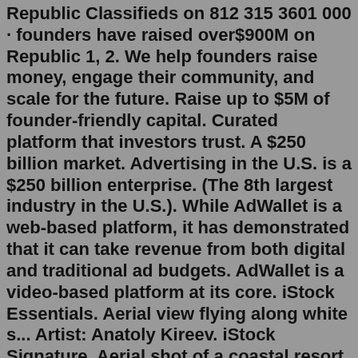Republic Classifieds on 812 315 3601 000 · founders have raised over$900M on Republic 1, 2. We help founders raise money, engage their community, and scale for the future. Raise up to $5M of founder-friendly capital. Curated platform that investors trust. A $250 billion market. Advertising in the U.S. is a $250 billion enterprise. (The 8th largest industry in the U.S.). While AdWallet is a web-based platform, it has demonstrated that it can take revenue from both digital and traditional ad budgets. AdWallet is a video-based platform at its core. iStock Essentials. Aerial view flying along white s... Artist: Anatoly Kireev. iStock Signature. Aerial shot of a coastal resort ... Artist: AscentXmedia. iStock Signature. Dominican City View. Artist: yukselerol. Jan 09, 2022 · American fashion brand Banana Republic heads to the South of Italy for its spring 2022 campaign called: A Collector's Dream. Captured by Richard Phibbs, models Louise De Chevigny, Nya Gatbel, Cherokee Jack, and Axel Hermann pose in sun-drenched images. A new season features elevated essentials like